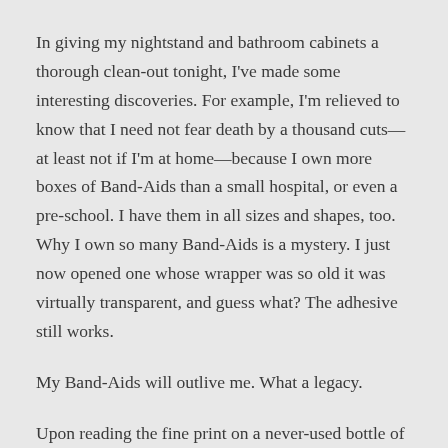In giving my nightstand and bathroom cabinets a thorough clean-out tonight, I've made some interesting discoveries. For example, I'm relieved to know that I need not fear death by a thousand cuts—at least not if I'm at home—because I own more boxes of Band-Aids than a small hospital, or even a pre-school. I have them in all sizes and shapes, too. Why I own so many Band-Aids is a mystery. I just now opened one whose wrapper was so old it was virtually transparent, and guess what? The adhesive still works.
My Band-Aids will outlive me. What a legacy.
Upon reading the fine print on a never-used bottle of lemon eucalyptus mosquito repellent, I discovered that this benign-sounding concoction is only slightly less alarming than nuclear waste. Warnings abound. Do not so much as wave the box